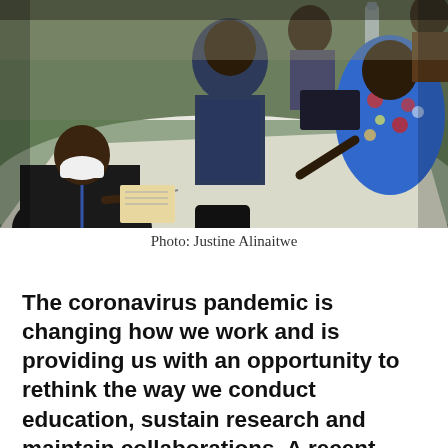[Figure (photo): Several people sitting around a table covered with white paper, writing and working together. A man in the foreground wears a black jacket and a white face mask with a blue lanyard. Others around the table include a woman in a blue floral dress on the right. The setting appears to be an indoor workshop or training session.]
Photo: Justine Alinaitwe
The coronavirus pandemic is changing how we work and is providing us with an opportunity to rethink the way we conduct education, sustain research and maintain collaborations. A recent field-training experience in Uganda, combining video recordings, zoom